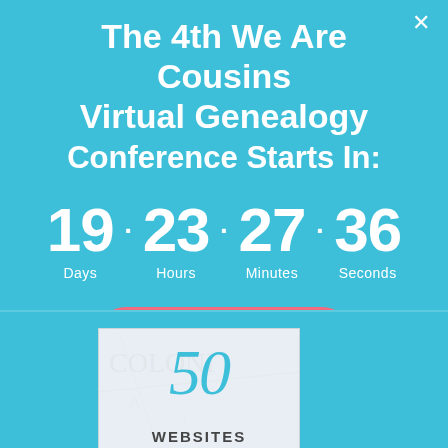The 4th We Are Cousins Virtual Genealogy Conference Starts In:
19 · 23 · 27 · 36 Days Hours Minutes Seconds
Register
[Figure (illustration): Book or promotional image showing '50 WEBSITES' in teal/blue italic numerals over a faint map background]